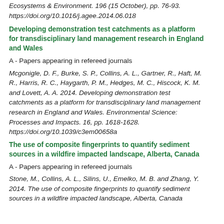Ecosystems & Environment. 196 (15 October), pp. 76-93. https://doi.org/10.1016/j.agee.2014.06.018
Developing demonstration test catchments as a platform for transdisciplinary land management research in England and Wales
A - Papers appearing in refereed journals
Mcgonigle, D. F., Burke, S. P., Collins, A. L., Gartner, R., Haft, M. R., Harris, R. C., Haygarth, P. M., Hedges, M. C., Hiscock, K. M. and Lovett, A. A. 2014. Developing demonstration test catchments as a platform for transdisciplinary land management research in England and Wales. Environmental Science: Processes and Impacts. 16, pp. 1618-1628. https://doi.org/10.1039/c3em00658a
The use of composite fingerprints to quantify sediment sources in a wildfire impacted landscape, Alberta, Canada
A - Papers appearing in refereed journals
Stone, M., Collins, A. L., Silins, U., Emelko, M. B. and Zhang, Y. 2014. The use of composite fingerprints to quantify sediment sources in a wildfire impacted landscape, Alberta, Canada